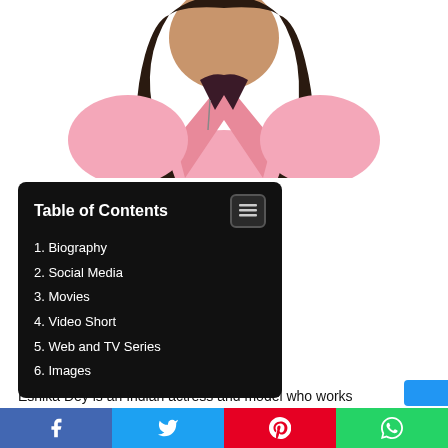[Figure (photo): Woman in pink blazer with long dark hair, upper body shot on white background]
| Table of Contents |
| --- |
| 1. Biography |
| 2. Social Media |
| 3. Movies |
| 4. Video Short |
| 5. Web and TV Series |
| 6. Images |
Eshika Dey is an Indian actress and model who works